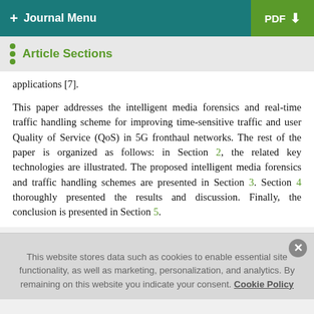+ Journal Menu | PDF ↓
Article Sections
applications [7].
This paper addresses the intelligent media forensics and real-time traffic handling scheme for improving time-sensitive traffic and user Quality of Service (QoS) in 5G fronthaul networks. The rest of the paper is organized as follows: in Section 2, the related key technologies are illustrated. The proposed intelligent media forensics and traffic handling schemes are presented in Section 3. Section 4 thoroughly presented the results and discussion. Finally, the conclusion is presented in Section 5.
This website stores data such as cookies to enable essential site functionality, as well as marketing, personalization, and analytics. By remaining on this website you indicate your consent. Cookie Policy